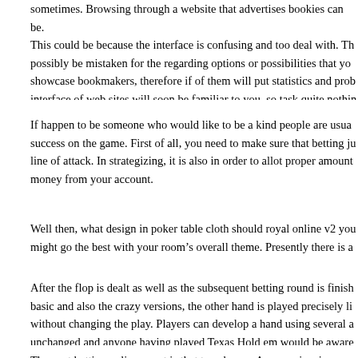sometimes. Browsing through a website that advertises bookies can be. This could be because the interface is confusing and too deal with. Th possibly be mistaken for the regarding options or possibilities that yo showcase bookmakers, therefore if of them will put statistics and prob interface of web sites will soon be familiar to you, so task quite nothin
If happen to be someone who would like to be a kind people are usua success on the game. First of all, you need to make sure that betting ju line of attack. In strategizing, it is also in order to allot proper amount money from your account.
Well then, what design in poker table cloth should royal online v2 you might go the best with your room's overall theme. Presently there is a
After the flop is dealt as well as the subsequent betting round is finish basic and also the crazy versions, the other hand is played precisely li without changing the play. Players can develop a hand using several a unchanged and anyone having played Texas Hold em would be aware
The next betting online smart is that to enhance. An overview is over 58/56